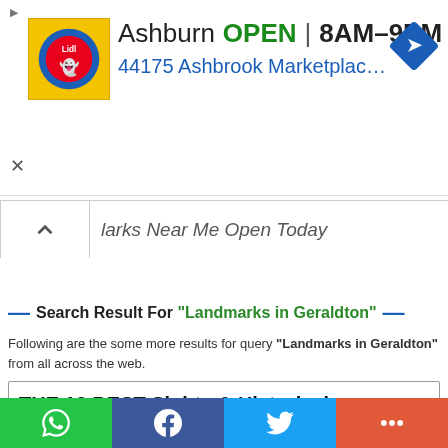[Figure (screenshot): Advertisement banner for Lidl store in Ashburn showing store logo, OPEN status, hours 8AM-9PM, address 44175 Ashbrook Marketplace Pl..., and navigation arrow icon]
larks Near Me Open Today
Search Result For "Landmarks in Geraldton"
Following are the some more results for query "Landmarks in Geraldton" from all across the web.
THE 10 BEST Sights & Historical Landmarks in Geraldton ...
These places are best for sights & landmarks in